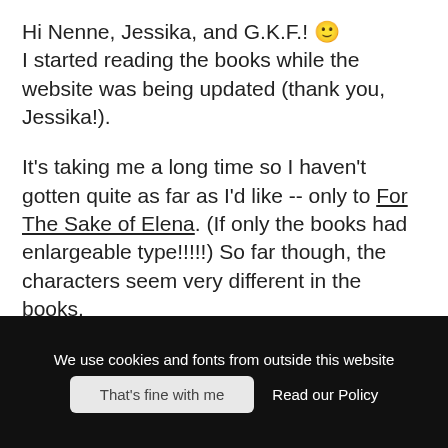Hi Nenne, Jessika, and G.K.F.! 🙂 I started reading the books while the website was being updated (thank you, Jessika!).
It's taking me a long time so I haven't gotten quite as far as I'd like -- only to For The Sake of Elena. (If only the books had enlargeable type!!!!!) So far though, the characters seem very different in the books.
Barbara and Tommy have a much more prickly, yet symbiotic, relationship in the books. So I'm withholding judgement as to whether they should be together. Havers is
We use cookies and fonts from outside this website
That's fine with me
Read our Policy